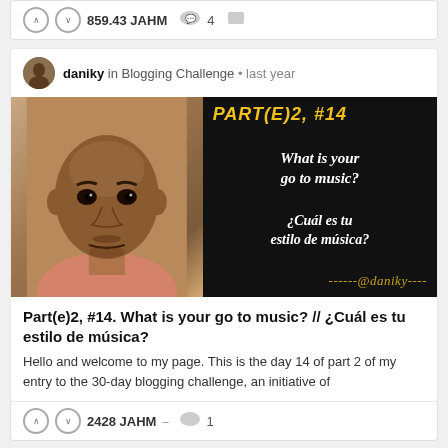859.43 JAHM · 4
daniky in Blogging Challenge · last year
[Figure (photo): Left half: photo of a young Black man with a shaved head, looking directly at the camera, wearing a pink/salmon shirt. Right half: black background with yellow text 'PART(E)2, #14' at top, white italic text 'What is your go to music?' and '¿Cuál es tu estilo de música?' in center, and yellow-orange dashed text '------@daniky----' at bottom.]
Part(e)2, #14. What is your go to music? // ¿Cuál es tu estilo de música?
Hello and welcome to my page. This is the day 14 of part 2 of my entry to the 30-day blogging challenge, an initiative of
2428 JAHM · 1